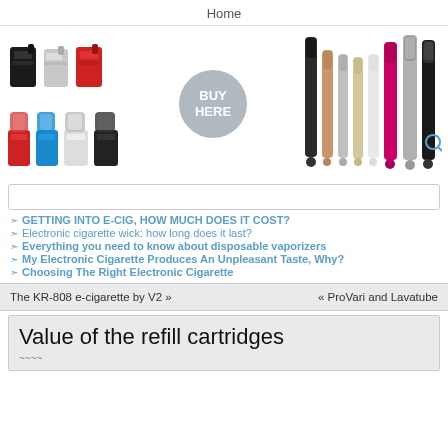Home
[Figure (photo): Banner with e-cigarette/vaporizer product images on left, a 'BUY HERE' circle button in center, and slim vape pen products on right]
[Search box]
GETTING INTO E-CIG, HOW MUCH DOES IT COST?
Electronic cigarette wick: how long does it last?
Everything you need to know about disposable vaporizers
My Electronic Cigarette Produces An Unpleasant Taste, Why?
Choosing The Right Electronic Cigarette
The KR-808 e-cigarette by V2 »     « ProVari and Lavatube
Value of the refill cartridges